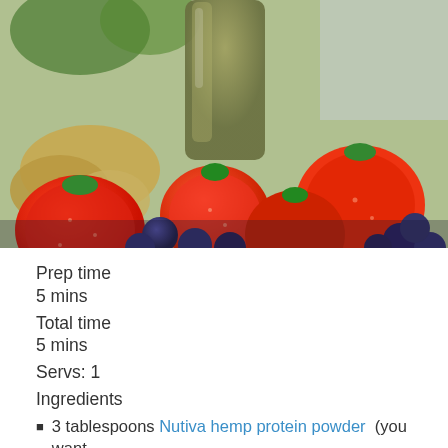[Figure (photo): Photo of a green smoothie in a glass bottle surrounded by red strawberries, blueberries, bananas, and nuts on a table]
Prep time
5 mins
Total time
5 mins
Servs: 1
Ingredients
3 tablespoons Nutiva hemp protein powder  (you want